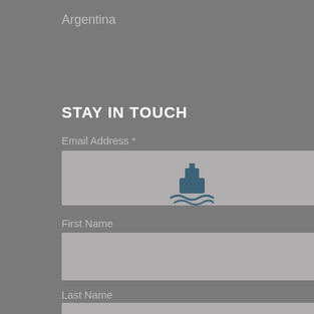Argentina
STAY IN TOUCH
Email Address *
[Figure (illustration): Ship/ferry icon centered in email address input field area]
First Name
Last Name